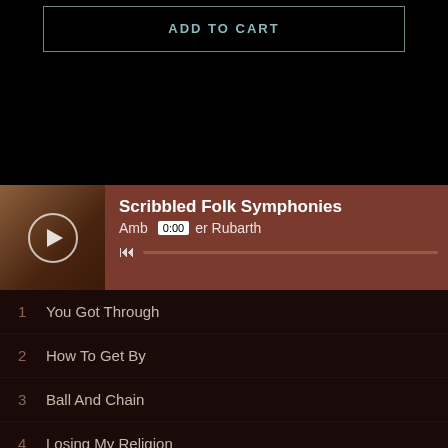ADD TO CART
[Figure (screenshot): Music player showing album 'Scribbled Folk Symphonies' by Amber Rubarth with play button, time 0:00, and progress bar on a reddish-brown background with album art thumbnail]
1  You Got Through
2  How To Get By
3  Ball And Chain
4  Losing My Religion
5  Any Time
6  Grass Top
7  In The C...